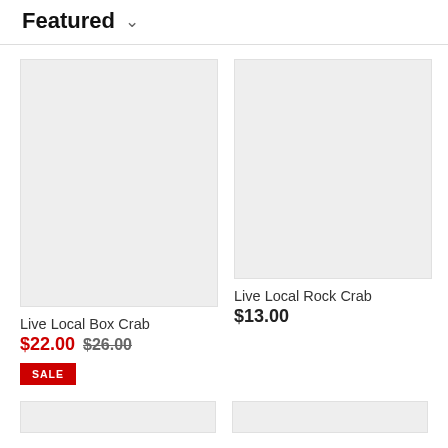Featured
[Figure (photo): Product image placeholder for Live Local Box Crab (gray rectangle)]
Live Local Box Crab
$22.00 $26.00
SALE
[Figure (photo): Product image placeholder for Live Local Rock Crab (gray rectangle)]
Live Local Rock Crab
$13.00
[Figure (photo): Bottom left product image placeholder (gray rectangle)]
[Figure (photo): Bottom right product image placeholder (gray rectangle)]